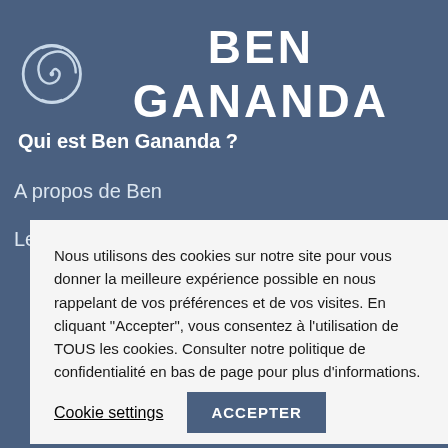[Figure (logo): Ben Gananda logo with spiral/circle icon and text 'BEN GANANDA' in white on steel-blue background]
Qui est Ben Gananda ?
A propos de Ben
Le projet de film - Le Changement Intérieur
Nous utilisons des cookies sur notre site pour vous donner la meilleure expérience possible en nous rappelant de vos préférences et de vos visites. En cliquant "Accepter", vous consentez à l'utilisation de TOUS les cookies. Consulter notre politique de confidentialité en bas de page pour plus d'informations.
Cookie settings | ACCEPTER